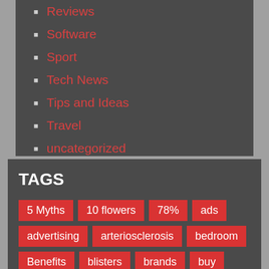Reviews
Software
Sport
Tech News
Tips and Ideas
Travel
uncategorized
Wedding
TAGS
5 Myths, 10 flowers, 78%, ads, advertising, arteriosclerosis, bedroom, Benefits, blisters, brands, buy, content, contrasts, cure, decorate, drunk, E-Commerce, Facebook, feet